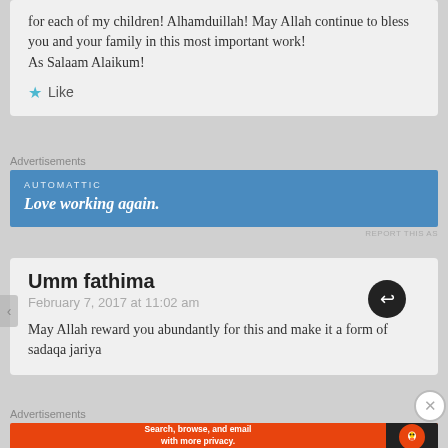for each of my children! Alhamduillah! May Allah continue to bless you and your family in this most important work!
As Salaam Alaikum!
★ Like
Advertisements
[Figure (other): Blue advertisement banner for Automattic: 'Love working again.']
REPORT THIS AS
Umm fathima
February 7, 2017 at 11:02 am
May Allah reward you abundantly for this and make it a form of sadaqa jariya
Advertisements
[Figure (other): DuckDuckGo advertisement: 'Search, browse, and email with more privacy. All in One Free App']
REPORT THIS AS